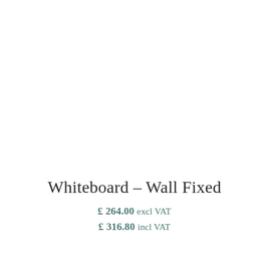Whiteboard – Wall Fixed
£ 264.00 excl VAT
£ 316.80 incl VAT